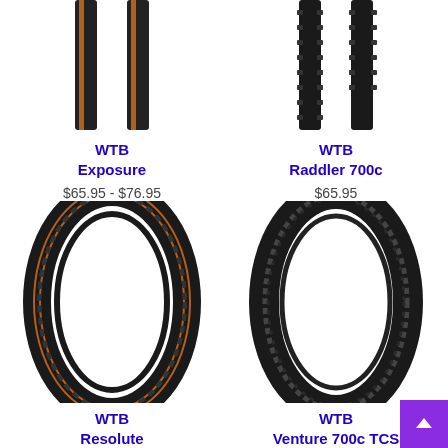[Figure (photo): WTB Exposure bicycle tire, top portion visible, black with tan sidewall]
WTB
Exposure
$65.95 - $76.95
[Figure (photo): WTB Raddler 700c bicycle tire, top portion visible, black knobby tread]
WTB
Raddler 700c
$65.95
[Figure (photo): WTB Resolute bicycle tire, full tire shown, black with tan/brown sidewall, knobby tread]
WTB
Resolute
[Figure (photo): WTB Venture 700c TCS bicycle tire, full tire shown, all black, knobby tread]
WTB
Venture 700c TCS